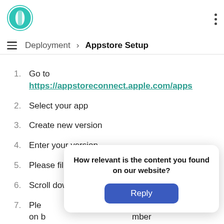[Figure (logo): Circular teal/green logo with a stylized white T or pill shape in the center]
Deployment > Appstore Setup
Go to https://appstoreconnect.apple.com/apps
Select your app
Create new version
Enter your version
Please fill ‘What’s new in the version’
Scroll down and Go to ‘Build’ section
Please make sure the build has been uploaded on Build number and
[Figure (screenshot): Popup dialog asking 'How relevant is the content you found on our website?' with a Reply button]